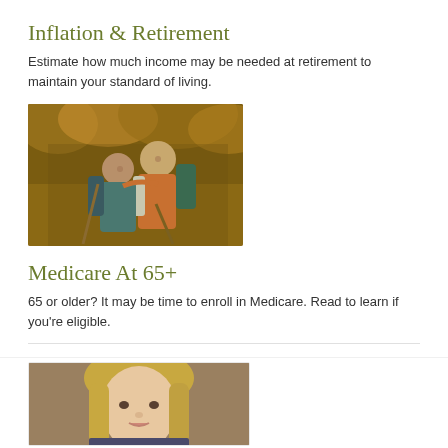Inflation & Retirement
Estimate how much income may be needed at retirement to maintain your standard of living.
[Figure (photo): Older couple hiking outdoors, embracing, wearing backpacks and outdoor gear, surrounded by autumn foliage]
Medicare At 65+
65 or older? It may be time to enroll in Medicare. Read to learn if you're eligible.
[Figure (photo): Portrait photo of a blonde woman, partial view showing head and upper body]